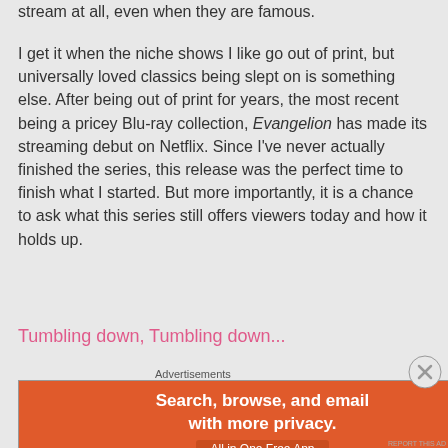stream at all, even when they are famous.
I get it when the niche shows I like go out of print, but universally loved classics being slept on is something else. After being out of print for years, the most recent being a pricey Blu-ray collection, Evangelion has made its streaming debut on Netflix. Since I've never actually finished the series, this release was the perfect time to finish what I started. But more importantly, it is a chance to ask what this series still offers viewers today and how it holds up.
Tumbling down, Tumbling down...
[Figure (other): DuckDuckGo advertisement banner: 'Search, browse, and email with more privacy. All in One Free App' with DuckDuckGo logo on dark background]